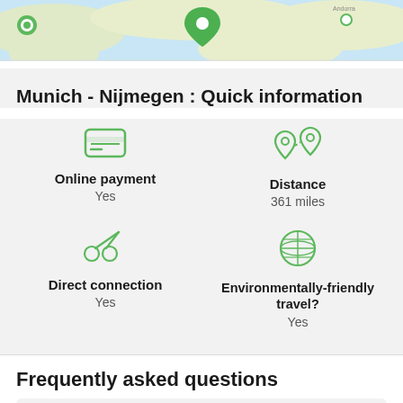[Figure (map): Partial map showing European geography with green location pin markers]
Munich - Nijmegen : Quick information
Online payment — Yes
Distance — 361 miles
Direct connection — Yes
Environmentally-friendly travel? — Yes
Frequently asked questions